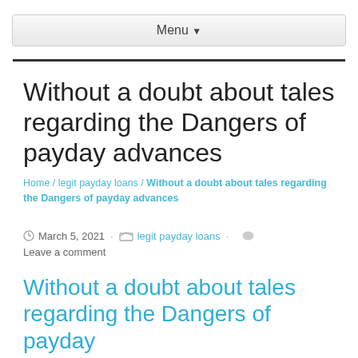Menu ▾
Without a doubt about tales regarding the Dangers of payday advances
Home / legit payday loans / Without a doubt about tales regarding the Dangers of payday advances
March 5, 2021 · legit payday loans · Leave a comment
Without a doubt about tales regarding the Dangers of payday